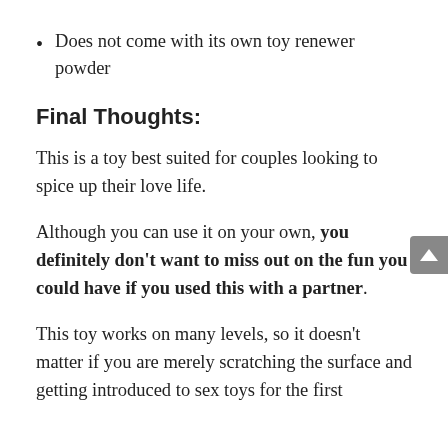Does not come with its own toy renewer powder
Final Thoughts:
This is a toy best suited for couples looking to spice up their love life.
Although you can use it on your own, you definitely don’t want to miss out on the fun you could have if you used this with a partner.
This toy works on many levels, so it doesn’t matter if you are merely scratching the surface and getting introduced to sex toys for the first